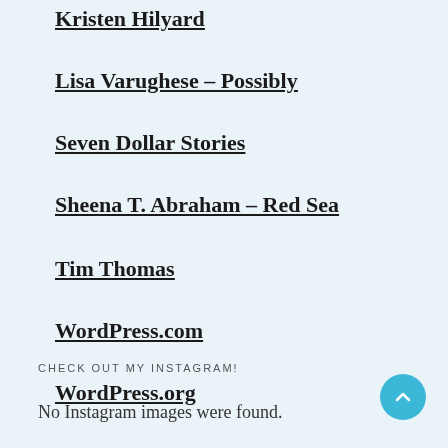Kristen Hilyard
Lisa Varughese – Possibly
Seven Dollar Stories
Sheena T. Abraham – Red Sea
Tim Thomas
WordPress.com
WordPress.org
CHECK OUT MY INSTAGRAM!
No Instagram images were found.